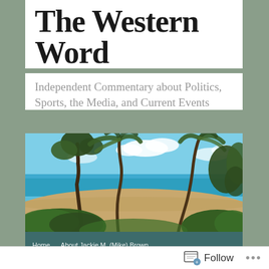The Western Word
Independent Commentary about Politics, Sports, the Media, and Current Events
[Figure (photo): Tropical beach scene with palm trees leaning over lush green vegetation, sandy beach, turquoise ocean water, and blue sky with white clouds]
Home   About Jackie M. (Mike) Brown
Follow  •••